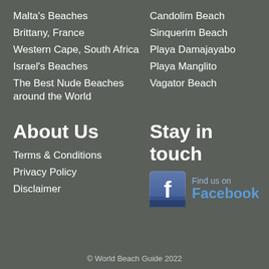Malta's Beaches
Brittany, France
Western Cape, South Africa
Israel's Beaches
The Best Nude Beaches around the World
Candolim Beach
Sinquerim Beach
Playa Damajayabo
Playa Manglito
Vagator Beach
About Us
Stay in touch
Terms & Conditions
Privacy Policy
Disclaimer
[Figure (logo): Find us on Facebook logo with Facebook 'f' icon and text 'Find us on Facebook']
© World Beach Guide 2022